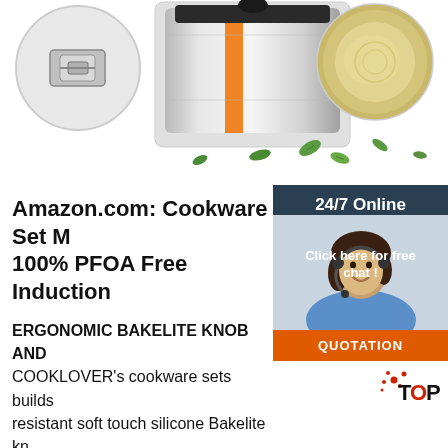[Figure (photo): Product image strip showing: left circular inset of cookware handle/clasp detail in black and white, center large stainless steel pot with orange accent and black knob, right circular inset showing yellowish interior of pot. Green leaves scattered in background on white area below.]
[Figure (infographic): Chat widget panel on right side: dark navy background with '24/7 Online' text, photo of smiling woman with headset, 'Click here for free chat!' text, orange QUOTATION button.]
Amazon.com: Cookware Set M 100% PFOA Free Induction
ERGONOMIC BAKELITE KNOB AND COOKLOVER's cookware sets builds resistant soft touch silicone Bakelite kn handle with beautiful wood grain desig REAL WOOD). UNIQUE TEMPERED GLASS LID with steam vent makes viewing food easily, heat-resistant and anti-slip Ergonomic knob is nice to grip, easy to maneuver, safe and anti ...
[Figure (logo): TOP logo with red dots/splash design, black and red text 'TOP']